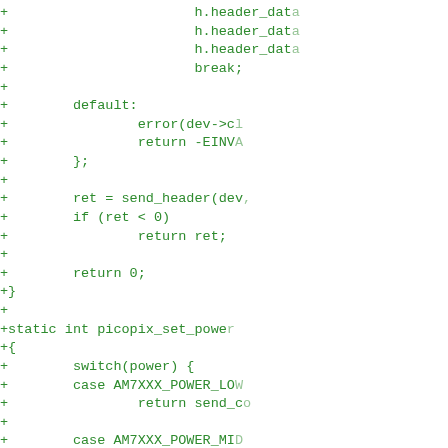[Figure (screenshot): Code diff snippet showing C source code additions (green lines starting with '+') for picopix_set_power function and related header/switch/case logic. The code is displayed in a monospace green font on white background, with lines truncated at the right edge.]